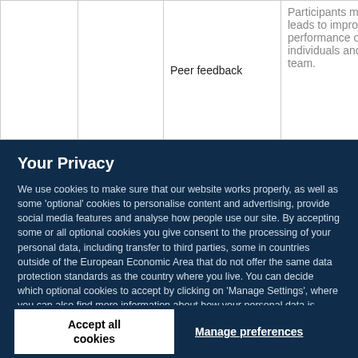|  |  | Peer feedback | Participants me... leads to improv... performance of individuals and team. |
Your Privacy
We use cookies to make sure that our website works properly, as well as some 'optional' cookies to personalise content and advertising, provide social media features and analyse how people use our site. By accepting some or all optional cookies you give consent to the processing of your personal data, including transfer to third parties, some in countries outside of the European Economic Area that do not offer the same data protection standards as the country where you live. You can decide which optional cookies to accept by clicking on 'Manage Settings', where you can also find more information about how your personal data is processed. Further information can be found in our privacy policy.
Accept all cookies
Manage preferences